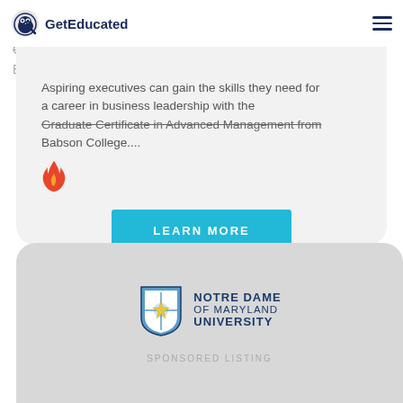GetEducated
Aspiring executives can gain the skills they need for a career in business leadership with the Graduate Certificate in Advanced Management from Babson College....
[Figure (illustration): Orange flame icon]
LEARN MORE
[Figure (logo): Notre Dame of Maryland University shield logo with blue and white crest]
SPONSORED LISTING